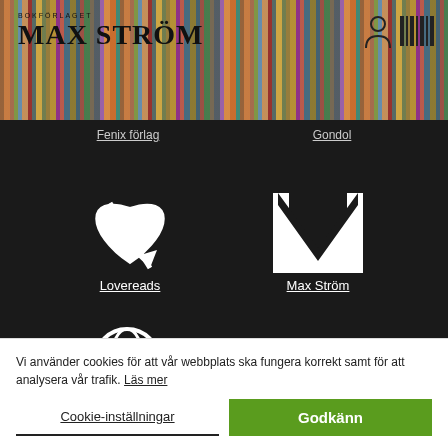[Figure (logo): Bokförlaget Max Ström logo in header with bookshelf background]
Fenix förlag
Gondol
[Figure (logo): Lovereads logo - heart with arrow]
Lovereads
[Figure (logo): Max Ström logo - large M letterform]
Max Ström
[Figure (logo): Reseförlaget logo - globe]
Reseförlaget
[Figure (logo): Romanus & Selling logo - text logo]
Romanus & Selling
Vi använder cookies för att vår webbplats ska fungera korrekt samt för att analysera vår trafik. Läs mer
Cookie-inställningar
Godkänn